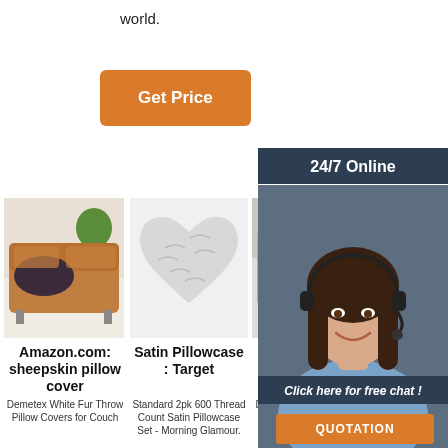world.
Get Price
24/7 Online
[Figure (photo): Customer service representative woman with headset smiling, dark background with 24/7 Online panel, Click here for free chat text, and QUOTATION orange button]
[Figure (photo): Brown leather sofa with dark sheepskin throw pillow cover, plant in background]
[Figure (photo): White fluffy heart-shaped satin pillowcase]
[Figure (photo): Grey decorative throw pillow on sofa, partially visible]
Amazon.com: sheepskin pillow cover
Satin Pillowcase : Target
Ama sati pillows
Demetex White Fur Throw Pillow Covers for Couch
Standard 2pk 600 Thread Count Satin Pillowcase Set - Morning Glamour.
Decorative Throw Pillow Covers 24,Sofa Cushion Grey Pillow